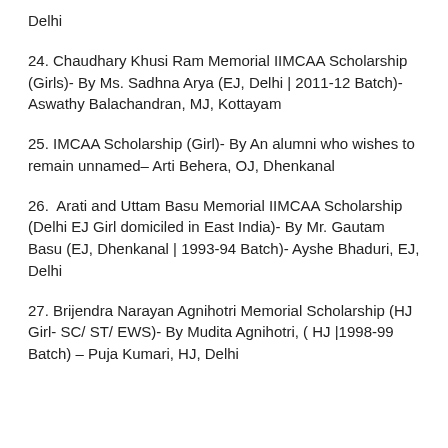Delhi
24. Chaudhary Khusi Ram Memorial IIMCAA Scholarship (Girls)- By Ms. Sadhna Arya (EJ, Delhi | 2011-12 Batch)- Aswathy Balachandran, MJ, Kottayam
25. IMCAA Scholarship (Girl)- By An alumni who wishes to remain unnamed– Arti Behera, OJ, Dhenkanal
26.  Arati and Uttam Basu Memorial IIMCAA Scholarship (Delhi EJ Girl domiciled in East India)- By Mr. Gautam Basu (EJ, Dhenkanal | 1993-94 Batch)- Ayshe Bhaduri, EJ, Delhi
27. Brijendra Narayan Agnihotri Memorial Scholarship (HJ Girl- SC/ ST/ EWS)- By Mudita Agnihotri, ( HJ |1998-99 Batch) – Puja Kumari, HJ, Delhi